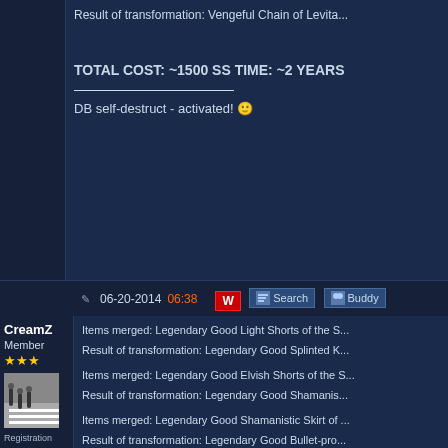Result of transformation: Vengeful Chain of Levita...
TOTAL COST: ~1500 SS TIME: ~2 YEARS
DB self-destruct - activated! 😁
06-20-2014 06:38
CreamZ
Member
★★★
Registration Date: 01-11-2012
Posts: 44
Race in game: Thoughtcatcher
Clan: DB
Items merged: Legendary Good Light Shorts of the S...
Result of transformation: Legendary Good Splinted K...

Items merged: Legendary Good Elvish Shorts of the S...
Result of transformation: Legendary Good Shamanis...

Items merged: Legendary Good Shamanistic Skirt of ...
Result of transformation: Legendary Good Bullet-pro...

Items merged: Legendary Good Splinted Kilt of the S...
Result of transformation: Legendary Good Splinted T...

Items merged: Legendary Good Tiger`s Skirt of the I...
Result of transformation: Legendary Good Elvish Kil...